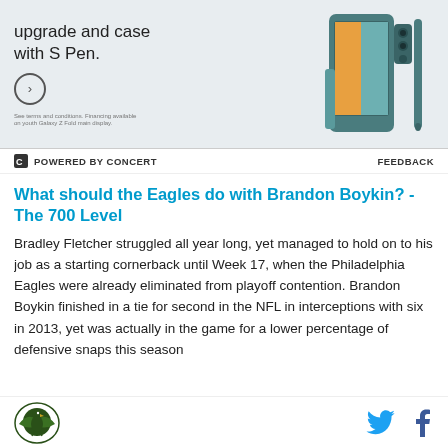[Figure (photo): Advertisement banner showing a Samsung Galaxy Z Fold smartphone with S Pen and case. Text reads 'upgrade and case with S Pen.' with a circular arrow button. Small print at bottom.]
POWERED BY CONCERT   FEEDBACK
What should the Eagles do with Brandon Boykin? - The 700 Level
Bradley Fletcher struggled all year long, yet managed to hold on to his job as a starting cornerback until Week 17, when the Philadelphia Eagles were already eliminated from playoff contention. Brandon Boykin finished in a tie for second in the NFL in interceptions with six in 2013, yet was actually in the game for a lower percentage of defensive snaps this season
[Figure (logo): Site logo with eagle emblem and social media icons (Twitter bird and Facebook f)]